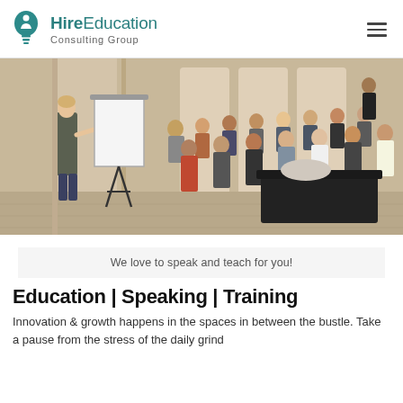Hire Education Consulting Group
[Figure (photo): A woman presenting at a whiteboard/flip chart to a room full of seated attendees in a conference or workshop setting. The room has decorative wood-paneled walls and the audience is diverse, seated in rows of chairs.]
We love to speak and teach for you!
Education | Speaking | Training
Innovation & growth happens in the spaces in between the bustle. Take a pause from the stress of the daily grind